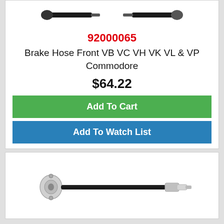[Figure (photo): Brake hose product image showing two brake hose ends, partially visible at top of card]
92000065
Brake Hose Front VB VC VH VK VL & VP Commodore
$64.22
Add To Cart
Add To Watch List
[Figure (photo): Brake hose product image showing a single flexible brake hose with fittings on each end]